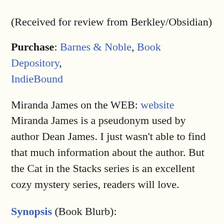(Received for review from Berkley/Obsidian)
Purchase: Barnes & Noble, Book Depository, IndieBound
Miranda James on the WEB: website
Miranda James is a pseudonym used by author Dean James. I just wasn't able to find that much information about the author. But the Cat in the Stacks series is an excellent cozy mystery series, readers will love.
Synopsis (Book Blurb):
Everyone in Athena, Mississippi, knows Charlie Harris, the good-natured librarian with a rescued